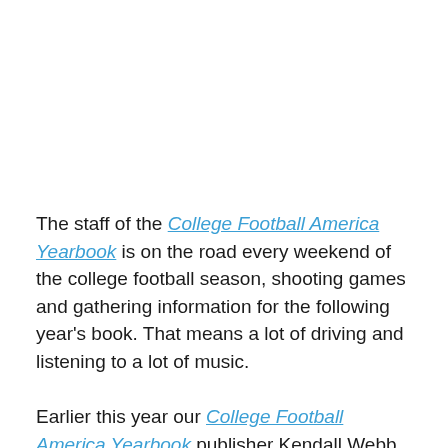The staff of the College Football America Yearbook is on the road every weekend of the college football season, shooting games and gathering information for the following year's book. That means a lot of driving and listening to a lot of music.
Earlier this year our College Football America Yearbook publisher Kendall Webb and our director of editorial content Chuck Cox put together 'The Coronavirus Countdown – 100 Days of Great Music.' Each of them sat